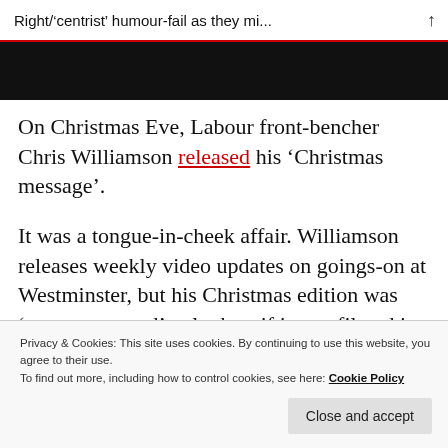Right/'centrist' humour-fail as they mi...
[Figure (photo): Dark image strip at top of article, partially visible]
On Christmas Eve, Labour front-bencher Chris Williamson released his ‘Christmas message’.
It was a tongue-in-cheek affair. Williamson releases weekly video updates on goings-on at Westminster, but his Christmas edition was ‘green-screened’ to look as if it was filmed in Buckingham Palace. The
Privacy & Cookies: This site uses cookies. By continuing to use this website, you agree to their use.
To find out more, including how to control cookies, see here: Cookie Policy